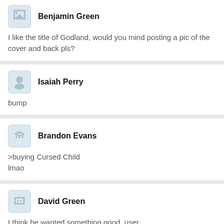Benjamin Green
I like the title of Godland, would you mind posting a pic of the cover and back pls?
Isaiah Perry
bump
Brandon Evans
>buying Cursed Child
lmao
David Green
I think he wanted something good, user.
Blake Adams